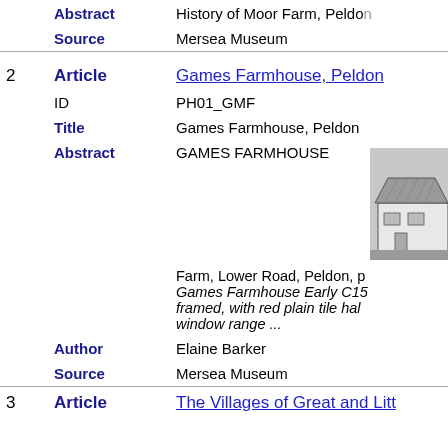|  | Abstract | History of Moor Farm, Peldon |
|  | Source | Mersea Museum |
| 2 | Article | Games Farmhouse, Peldon |
|  | ID | PH01_GMF |
|  | Title | Games Farmhouse, Peldon |
|  | Abstract | GAMES FARMHOUSE |
|  |  | Farm, Lower Road, Peldon, p... Games Farmhouse Early C15... framed, with red plain tile hal... window range ... |
|  | Author | Elaine Barker |
|  | Source | Mersea Museum |
| 3 | Article | The Villages of Great and Litt |